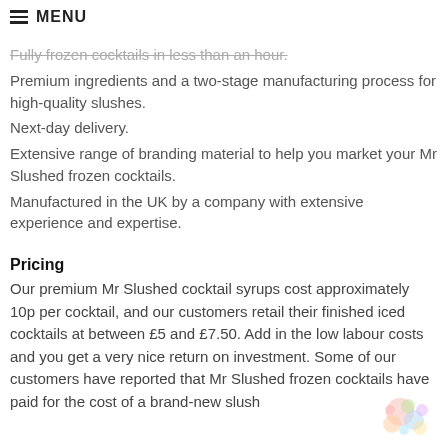≡ MENU
Fully frozen cocktails in less than an hour.
Premium ingredients and a two-stage manufacturing process for high-quality slushes.
Next-day delivery.
Extensive range of branding material to help you market your Mr Slushed frozen cocktails.
Manufactured in the UK by a company with extensive experience and expertise.
Pricing
Our premium Mr Slushed cocktail syrups cost approximately 10p per cocktail, and our customers retail their finished iced cocktails at between £5 and £7.50. Add in the low labour costs and you get a very nice return on investment. Some of our customers have reported that Mr Slushed frozen cocktails have paid for the cost of a brand-new slush